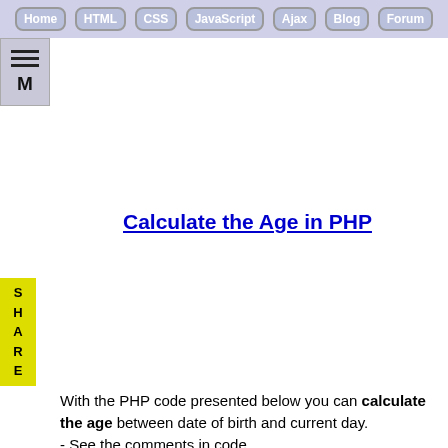Home  HTML  CSS  JavaScript  Ajax  Blog  Forum
[Figure (other): Menu icon with three horizontal bars and letter M]
[Figure (other): SHARE vertical sidebar button in yellow]
Calculate the Age in PHP
With the PHP code presented below you can calculate the age between date of birth and current day.
- See the comments in code.
<?php
// object with date of birth
$bday = new DateTime('15.10.1976');   // day.
$...   = new DateTime(d00.00.00b);   //